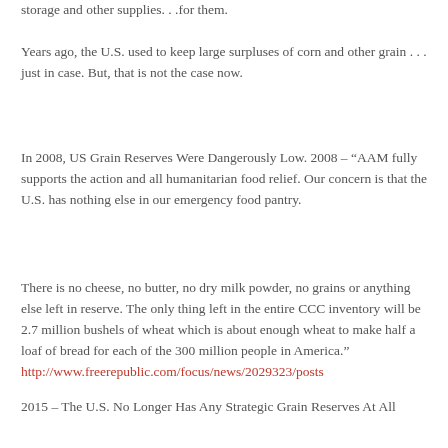storage and other supplies. . .for them.
Years ago, the U.S. used to keep large surpluses of corn and other grain . . . just in case. But, that is not the case now.
In 2008, US Grain Reserves Were Dangerously Low. 2008 – “AAM fully supports the action and all humanitarian food relief. Our concern is that the U.S. has nothing else in our emergency food pantry.
There is no cheese, no butter, no dry milk powder, no grains or anything else left in reserve. The only thing left in the entire CCC inventory will be 2.7 million bushels of wheat which is about enough wheat to make half a loaf of bread for each of the 300 million people in America.” http://www.freerepublic.com/focus/news/2029323/posts
2015 – The U.S. No Longer Has Any Strategic Grain Reserves At All
“President Franklin D. Roosevelt created a grain